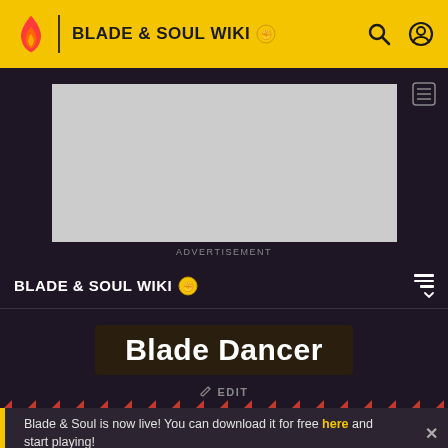BLADE & SOUL WIKI
[Figure (screenshot): Advertisement placeholder (grey rectangle)]
ADVERTISEMENT
BLADE & SOUL WIKI
Blade Dancer
✏ EDIT
Blade & Soul is now live! You can download it for free here and start playing!